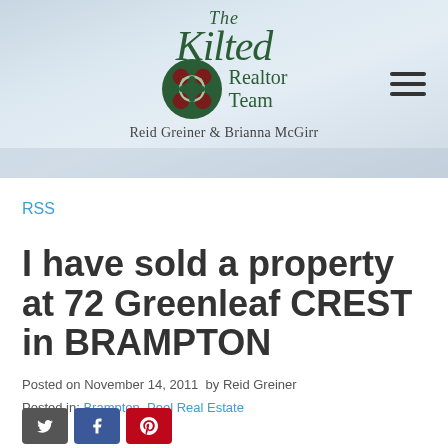[Figure (logo): The Kilted Realtor Team logo with Celtic knot emblem and text 'Reid Greiner & Brianna McGirr' on a kitchen background banner]
RSS
I have sold a property at 72 Greenleaf CREST in BRAMPTON
Posted on November 14, 2011  by Reid Greiner
Posted in: Brampton, Peel Real Estate